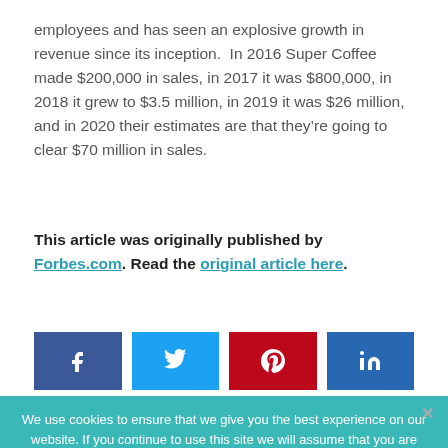employees and has seen an explosive growth in revenue since its inception.  In 2016 Super Coffee made $200,000 in sales, in 2017 it was $800,000, in 2018 it grew to $3.5 million, in 2019 it was $26 million, and in 2020 their estimates are that they're going to clear $70 million in sales.
This article was originally published by Forbes.com. Read the original article here.
[Figure (infographic): Social media share buttons: Facebook (dark blue), Twitter (light blue), Pinterest (red), LinkedIn (dark blue)]
We use cookies to ensure that we give you the best experience on our website. If you continue to use this site we will assume that you are happy with it.
Ok   Privacy policy